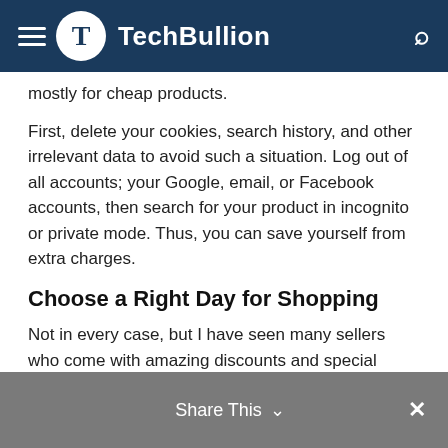TechBullion
mostly for cheap products.
First, delete your cookies, search history, and other irrelevant data to avoid such a situation. Log out of all accounts; your Google, email, or Facebook accounts, then search for your product in incognito or private mode. Thus, you can save yourself from extra charges.
Choose a Right Day for Shopping
Not in every case, but I have seen many sellers who come with amazing discounts and special deals on specific days of the week. Some offer discounts on Thursday and Saturday only. While a few have special offers for a specific day in one month. Find out that specific day and shop your item to save money.
Find a Code
Share This ∨  ×